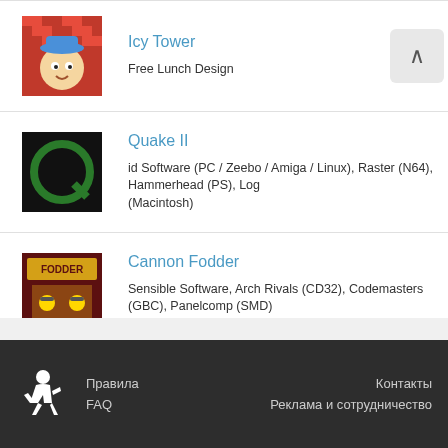Icy Tower
Free Lunch Design
Quake II
id Software (PC / Zeebo / Amiga / Linux), Raster (N64), Hammerhead (PS), Log... (Macintosh)
Cannon Fodder
Sensible Software, Arch Rivals (CD32), Codemasters (GBC), Panelcomp (SMD), Visual Magic (DOS)
Contra
Konami, Ocean (CPC; ZX), Banana Development (Win)
Правила  FAQ  Контакты  Реклама и сотрудничество